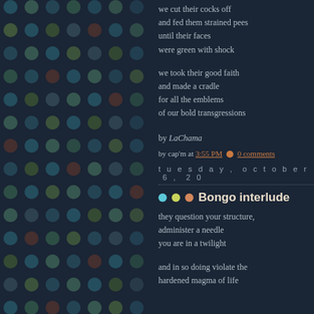[Figure (illustration): Dark navy background with a grid of colored polka dots in muted blues, greens, teals, and muted reds/browns arranged in a repeating pattern on the left half of the page.]
we cut their cocks off
and fed them strained pees
until their faces
were green with shock
we took their good faith
and made a cradle
for all the emblems
of our bold transgressions
by LaChama
by cap'm at 3:55 PM 0 comments
tuesday, october 6, 20
Bongo interlude
they question your structure,
administer a needle
you are in a twilight
and in so doing violate the
hardened magma of life